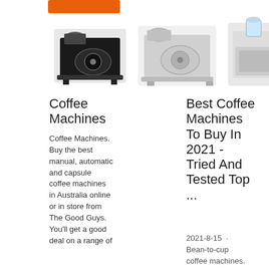[Figure (screenshot): Orange button at top left of page]
[Figure (photo): Three coffee roasting machines displayed in a row]
Coffee Machines
Coffee Machines. Buy the best manual, automatic and capsule coffee machines in Australia online or in store from The Good Guys. You'll get a good deal on a range of
Best Coffee Machines To Buy In 2021 - Tried And Tested Top ...
2021-8-15 · Bean-to-cup coffee machines. Best bean-to-cup
Best To C Coff Mac 2021 Fresh Barista ...
2021-6-28 · Coffee pre-sets. whether manual, semi-automatic or
[Figure (infographic): Dark navy overlay panel showing 24/7 Online text, a female customer service agent with headset, Click here for free chat text, and an orange QUOTATION button]